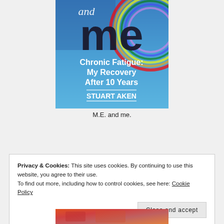[Figure (illustration): Book cover for 'M.E. and me: Chronic Fatigue: My Recovery After 10 Years' by Stuart Aken. Blue background with rainbow, large dark text 'me', white text for subtitle and author name.]
M.E. and me.
Privacy & Cookies: This site uses cookies. By continuing to use this website, you agree to their use.
To find out more, including how to control cookies, see here: Cookie Policy
Close and accept
[Figure (photo): Partial view of another book cover at the bottom of the page, showing colorful imagery.]